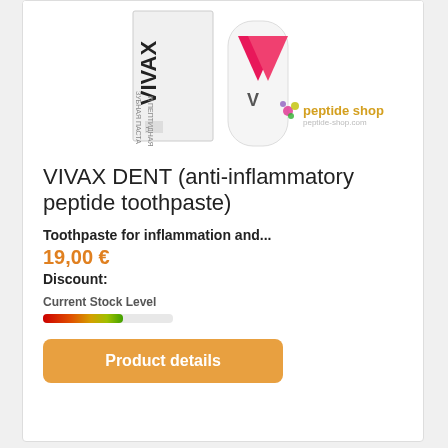[Figure (photo): Two VIVAX toothpaste tubes on white background, one box-style and one tube, with Peptide Shop logo overlay]
VIVAX DENT (anti-inflammatory peptide toothpaste)
Toothpaste for inflammation and...
19,00 €
Discount:
Current Stock Level
[Figure (infographic): Stock level indicator bar showing gradient from red to green]
Product details